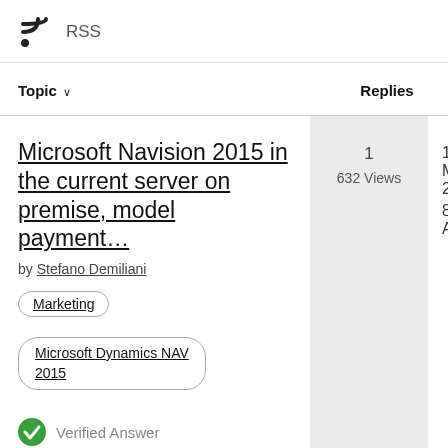RSS
| Topic ↓ | Replies | Date ↓ |
| --- | --- | --- |
| Microsoft Navision 2015 in the current server on premise, model payment… by Stefano Demiliani | Marketing | Microsoft Dynamics NAV 2015 | Verified Answer | 1
632 Views | 16 Mar 2018
8:05 AM |